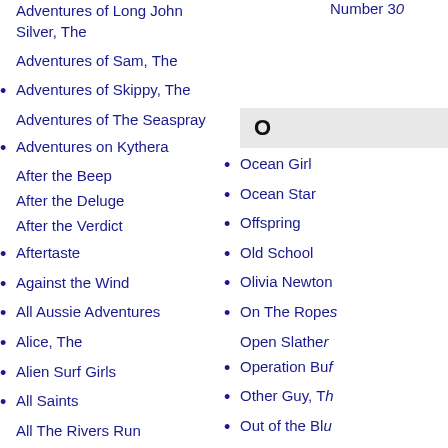Adventures of Long John Silver, The
Number 30
Adventures of Sam, The
Adventures of Skippy, The
O
Adventures of The Seaspray
Adventures on Kythera
Ocean Girl
After the Beep
Ocean Star
After the Deluge
Offspring
After the Verdict
Old School
Aftertaste
Olivia Newton
Against the Wind
On The Ropes
All Aussie Adventures
Open Slather
Alice, The
Operation Buf
Alien Surf Girls
Other Guy, Th
All Saints
Out of the Blu
All The Rivers Run
Out There
All The Rivers Run
Outback Adve
All The Way
Outback Hous